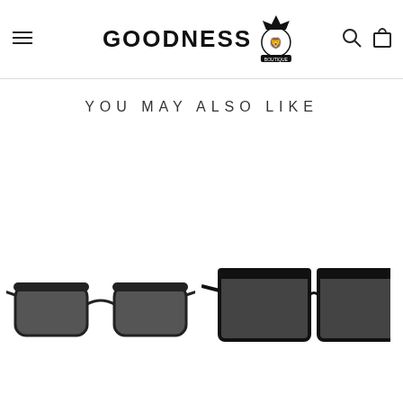GOODNESS BOUTIQUE — navigation header with menu, logo, search, and cart icons
YOU MAY ALSO LIKE
[Figure (photo): Two pairs of sunglasses shown at the bottom of the page. Left pair: classic black wayfarer style sunglasses with dark lenses. Right pair: oversized black square frame sunglasses partially visible at right edge.]